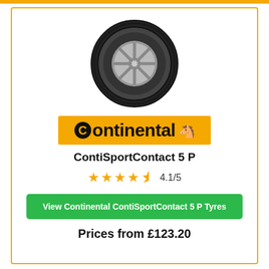[Figure (photo): A Continental ContiSportContact 5 P tyre on an alloy wheel, shown in profile view against a white background.]
[Figure (logo): Continental brand logo on an orange/amber background, with a stylised 'C' circle mark and a rearing horse symbol.]
ContiSportContact 5 P
4.1/5 (star rating with 4 full stars and 1 half star)
View Continental ContiSportContact 5 P Tyres
Prices from £123.20